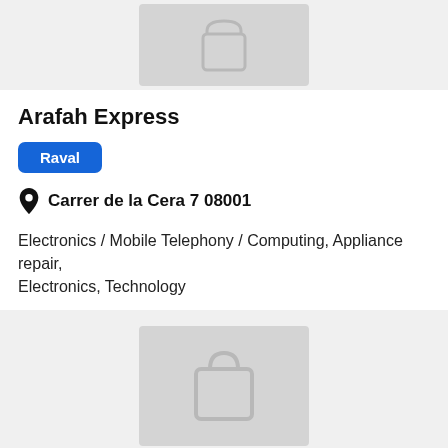[Figure (illustration): Placeholder shopping bag icon on grey background, top of card]
Arafah Express
Raval
Carrer de la Cera 7 08001
Electronics / Mobile Telephony / Computing, Appliance repair, Electronics, Technology
[Figure (illustration): Placeholder shopping bag icon on grey background, bottom card]